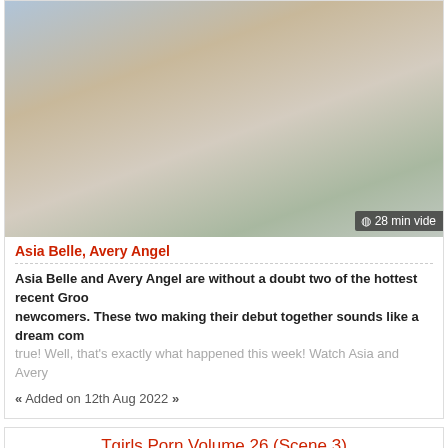[Figure (photo): Thumbnail image of two women, one with long red hair wearing green top, another in floral dress, in an intimate scene]
28 min vide
Asia Belle, Avery Angel
Asia Belle and Avery Angel are without a doubt two of the hottest recent Groo newcomers. These two making their debut together sounds like a dream com true! Well, that's exactly what happened this week! Watch Asia and Avery
« Added on 12th Aug 2022 »
Tgirls Porn Volume 26 (Scene 3)
[Figure (photo): Close-up thumbnail of a person with pink/magenta hair]